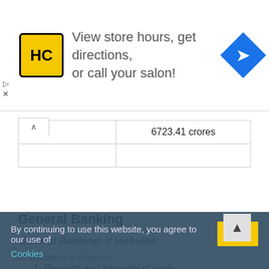[Figure (screenshot): Advertisement banner for HC (Hair Club) salon: yellow/black HC logo, text 'View store hours, get directions, or call your salon!', blue diamond navigation icon on right. Play and close ad controls on left.]
| Total | 6723.41 crores |
General Banking
General Banking: it includes
Mobilization of deposits.
1. Receipts and payment of cash.
2. Handling transfer transaction.
3. Operation of clearing house.